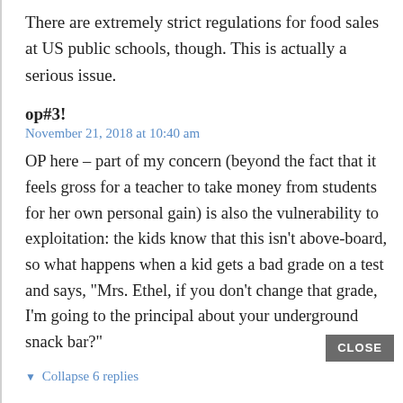There are extremely strict regulations for food sales at US public schools, though. This is actually a serious issue.
op#3!
November 21, 2018 at 10:40 am
OP here – part of my concern (beyond the fact that it feels gross for a teacher to take money from students for her own personal gain) is also the vulnerability to exploitation: the kids know that this isn't above-board, so what happens when a kid gets a bad grade on a test and says, “Mrs. Ethel, if you don’t change that grade, I’m going to the principal about your underground snack bar?”
CLOSE
▼ Collapse 6 replies